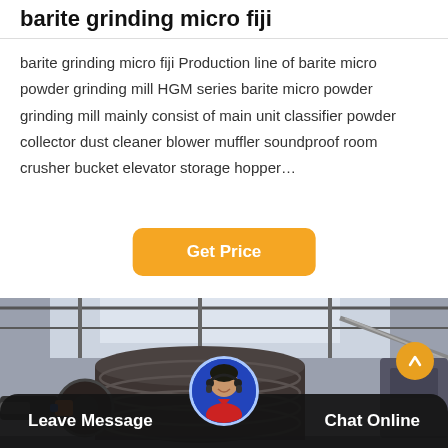barite grinding micro fiji
barite grinding micro fiji Production line of barite micro powder grinding mill HGM series barite micro powder grinding mill mainly consist of main unit classifier powder collector dust cleaner blower muffler soundproof room crusher bucket elevator storage hopper…
[Figure (other): Orange rounded button labeled 'Get Price']
[Figure (photo): Industrial grinding mill equipment inside a factory building, large cylindrical metal drum visible]
Leave Message  Chat Online